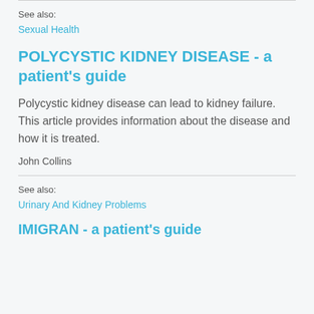See also:
Sexual Health
POLYCYSTIC KIDNEY DISEASE - a patient's guide
Polycystic kidney disease can lead to kidney failure. This article provides information about the disease and how it is treated.
John Collins
See also:
Urinary And Kidney Problems
IMIGRAN - a patient's guide